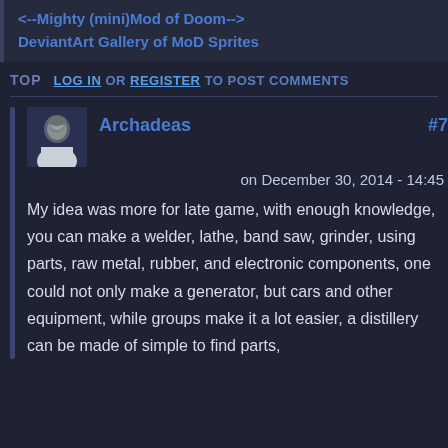<--Mighty (mini)Mod of Doom-->
DeviantArt Gallery of MoD Sprites
TOP   LOG IN OR REGISTER TO POST COMMENTS
Archadeas   #7
on December 30, 2014 - 14:45
My idea was more for late game, with enough knowledge, you can make a welder, lathe, band saw, grinder, using parts, raw metal, rubber, and electronic components, one could not only make a generator, but cars and other equipment, while groups make it a lot easier, a distillery can be made of simple to find parts,